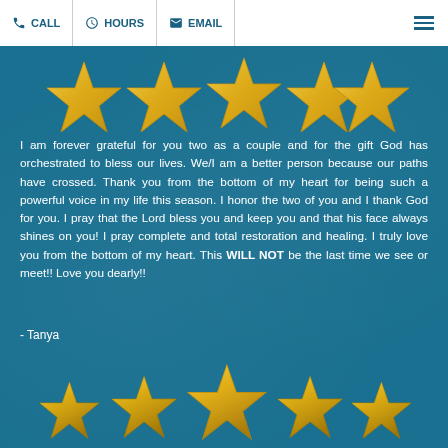CALL  HOURS  EMAIL
[Figure (illustration): Five gold/yellow star icons in a row at the top of the page, partially cropped]
I am forever grateful for you two as a couple and for the gift God has orchestrated to bless our lives. We/I am a better person because our paths have crossed. Thank you from the bottom of my heart for being such a powerful voice in my life this season. I honor the two of you and I thank God for you. I pray that the Lord bless you and keep you and that his face always shines on you! I pray complete and total restoration and healing. I truly love you from the bottom of my heart. This WILL NOT be the last time we see or meet!! Love you dearly!!
- Tanya
[Figure (illustration): Five gold/yellow star icons in a row at the bottom of the page, 5-star rating graphic]